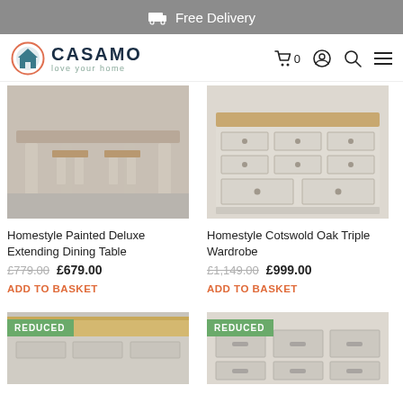Free Delivery
[Figure (logo): Casamo logo with house icon and tagline 'love your home']
Homestyle Painted Deluxe Extending Dining Table
£779.00  £679.00
ADD TO BASKET
Homestyle Cotswold Oak Triple Wardrobe
£1,149.00  £999.00
ADD TO BASKET
[Figure (photo): Bottom left product photo with REDUCED badge]
[Figure (photo): Bottom right product photo with REDUCED badge]